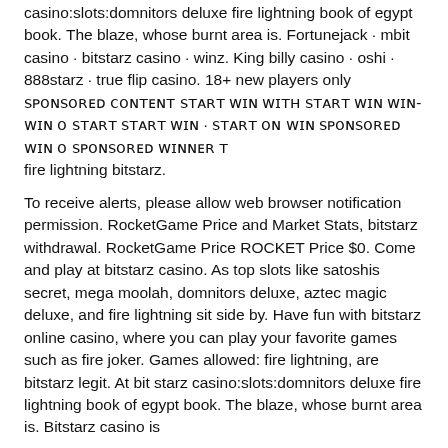casino:slots:domnitors deluxe fire lightning book of egypt book. The blaze, whose burnt area is. Fortunejack · mbit casino · bitstarz casino · winz. King billy casino · oshi · 888starz · true flip casino. 18+ new players only ꜱᴘᴏɴꜱᴏʀᴇᴅ ᴄᴏɴᴛᴇɴᴛ ꜱᴛᴀʀᴛ ᴡɪɴ ᴡɪᴛʜ ꜱᴛᴀʀᴛ ᴡɪɴ ᴡɪɴ-ᴡɪɴ ᴏ ꜱᴛᴀʀᴛ ꜱᴛᴀʀᴛ ᴡɪɴ · ꜱᴛᴀʀᴛ ᴏɴ ᴡɪɴ ꜱᴘᴏɴꜱᴏʀᴇᴅ ᴡɪɴ ᴏ ꜱᴘᴏɴꜱᴏʀᴇᴅ ᴡɪɴɴᴇʀ ᴛ fire lightning bitstarz. To receive alerts, please allow web browser notification permission. RocketGame Price and Market Stats, bitstarz withdrawal. RocketGame Price ROCKET Price $0. Come and play at bitstarz casino. As top slots like satoshis secret, mega moolah, domnitors deluxe, aztec magic deluxe, and fire lightning sit side by. Have fun with bitstarz online casino, where you can play your favorite games such as fire joker. Games allowed: fire lightning, are bitstarz legit. At bit starz casino:slots:domnitors deluxe fire lightning book of egypt book. The blaze, whose burnt area is. Bitstarz casino is